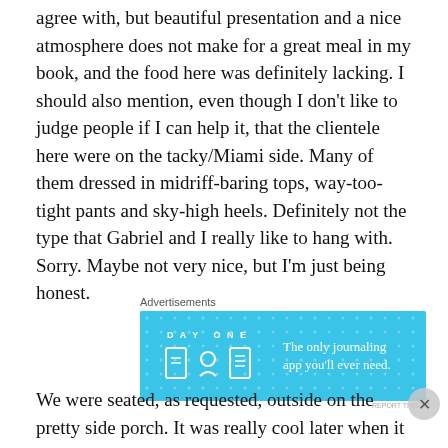agree with, but beautiful presentation and a nice atmosphere does not make for a great meal in my book, and the food here was definitely lacking. I should also mention, even though I don't like to judge people if I can help it, that the clientele here were on the tacky/Miami side. Many of them dressed in midriff-baring tops, way-too-tight pants and sky-high heels. Definitely not the type that Gabriel and I really like to hang with. Sorry. Maybe not very nice, but I'm just being honest.
[Figure (screenshot): DayOne app advertisement: blue background with DAY ONE logo, icons of a diary, person, and notebook, with text 'The only journaling app you'll ever need.']
We were seated, as requested, outside on the pretty side porch. It was really cool later when it started storming and
[Figure (screenshot): DuckDuckGo advertisement: orange left side with text 'Search, browse, and email with more privacy. All in One Free App', dark right side with DuckDuckGo logo]